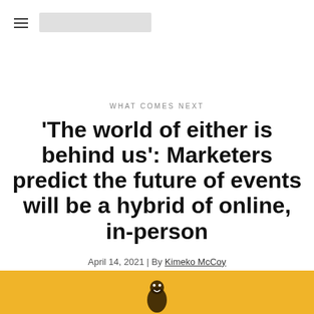≡  [logo]
WHAT COMES NEXT
'The world of either is behind us': Marketers predict the future of events will be a hybrid of online, in-person
April 14, 2021 | By Kimeko McCoy
[Figure (illustration): Yellow/gold background banner at bottom of page with a small illustrated figure/character visible at the bottom center]